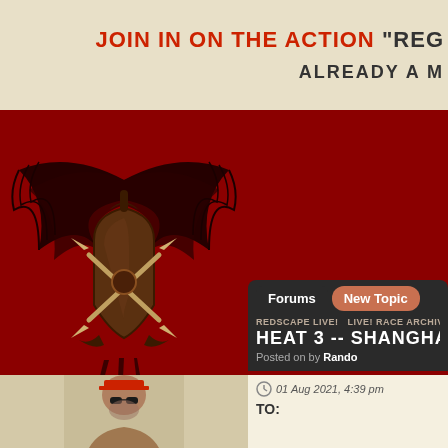JOIN IN ON THE ACTION "REG...
ALREADY A M...
[Figure (logo): Redscape gaming community logo: winged shield with crossed pickaxes on dark red background]
It is currently 29 Aug 2022, 8:07 am
Forums | New Topic
REDSCAPE LIVE! LIVE! RACE ARCHIVES
HEAT 3 -- SHANGHAI
Posted on by Rando
[Figure (photo): Avatar photo of forum user]
01 Aug 2021, 4:39 pm
TO: